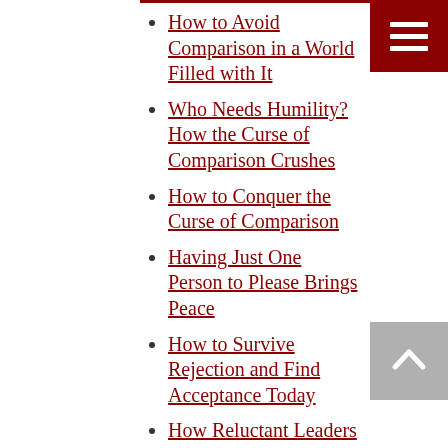How to Avoid Comparison in a World Filled with It
Who Needs Humility?How the Curse of Comparison Crushes
How to Conquer the Curse of Comparison
Having Just One Person to Please Brings Peace
How to Survive Rejection and Find Acceptance Today
How Reluctant Leaders Become Confident Achievers for God
3 Contradictions of Scripture
Video: Have You Been Pecked At?
Why Christians Can be Confident in God but Circumspect